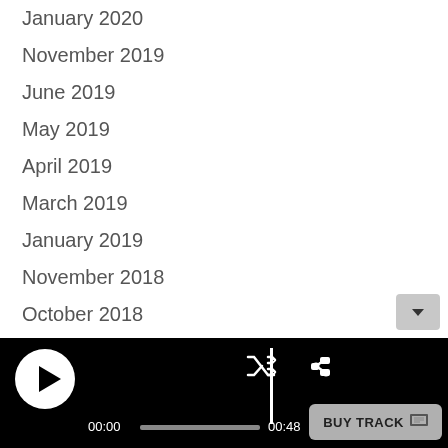January 2020
November 2019
June 2019
May 2019
April 2019
March 2019
January 2019
November 2018
October 2018
September 2018
August 2018
July 2018
June 2018
May 2018
[Figure (screenshot): Audio player bar with play button, progress bar (00:00 to 00:48), shuffle, share, back, previous, next controls and BUY TRACK button]